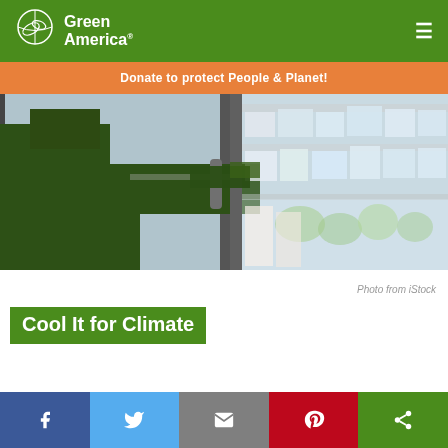Green America
Donate to protect People & Planet!
[Figure (photo): Person in dark green sweater reaching into a commercial refrigerator/freezer case in a grocery store, selecting frozen food items. The shelves are stocked with packaged frozen products.]
Photo from iStock
Cool It for Climate